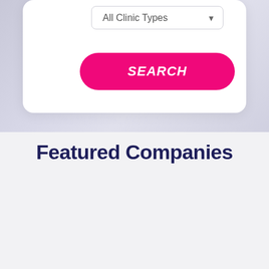[Figure (screenshot): A white card UI element containing a dropdown selector labeled 'All Clinic Types' with a dropdown arrow, and a pink/magenta rounded button labeled 'SEARCH' in italic bold white text. The background is a light purple-gray gradient.]
Featured Companies
[Figure (screenshot): A white rounded card placeholder for featured company content, shown on a light gray background.]